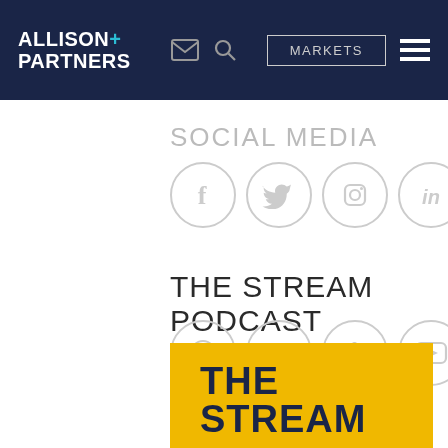ALLISON+ PARTNERS — MARKETS navigation header
SOCIAL MEDIA
[Figure (illustration): Five social media icon circles: Facebook, Twitter, Instagram, LinkedIn, YouTube]
THE STREAM PODCAST
[Figure (illustration): Four podcast platform icon circles: Spotify, Apple Podcasts, Anchor/Chartable, YouTube]
[Figure (illustration): Yellow card with bold text THE STREAM at bottom of page]